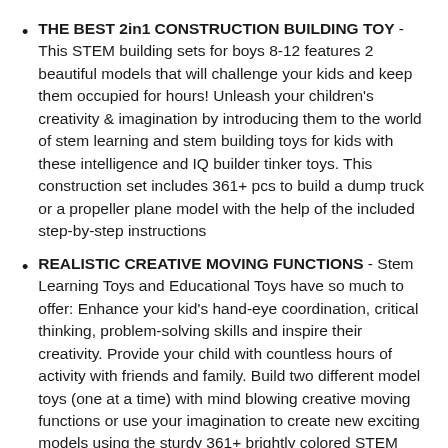THE BEST 2in1 CONSTRUCTION BUILDING TOY - This STEM building sets for boys 8-12 features 2 beautiful models that will challenge your kids and keep them occupied for hours! Unleash your children's creativity & imagination by introducing them to the world of stem learning and stem building toys for kids with these intelligence and IQ builder tinker toys. This construction set includes 361+ pcs to build a dump truck or a propeller plane model with the help of the included step-by-step instructions
REALISTIC CREATIVE MOVING FUNCTIONS - Stem Learning Toys and Educational Toys have so much to offer: Enhance your kid's hand-eye coordination, critical thinking, problem-solving skills and inspire their creativity. Provide your child with countless hours of activity with friends and family. Build two different model toys (one at a time) with mind blowing creative moving functions or use your imagination to create new exciting models using the sturdy 361+ brightly colored STEM